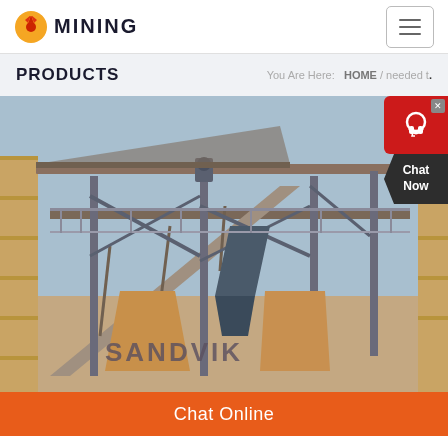MINING (logo with navigation)
PRODUCTS
You Are Here:  HOME / needed t.
[Figure (photo): Industrial mining/crushing equipment facility showing large metal conveyors, structural steel framework, hoppers and machinery at a processing plant. Equipment includes a Sandvik branded machine. Blue sky background with wooden structure visible on sides.]
Chat Now
Chat Online